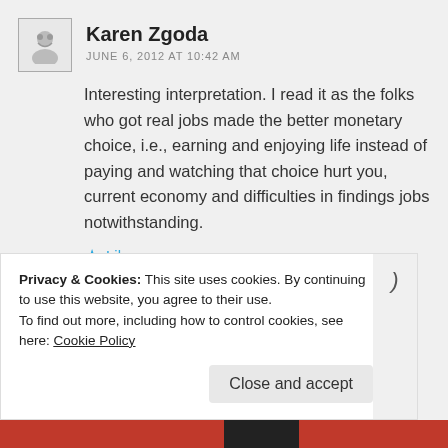Karen Zgoda
JUNE 6, 2012 AT 10:42 AM
Interesting interpretation. I read it as the folks who got real jobs made the better monetary choice, i.e., earning and enjoying life instead of paying and watching that choice hurt you, current economy and difficulties in findings jobs notwithstanding.
★ Like
★★★★½ ⓘ 23 Votes
Privacy & Cookies: This site uses cookies. By continuing to use this website, you agree to their use.
To find out more, including how to control cookies, see here: Cookie Policy
Close and accept